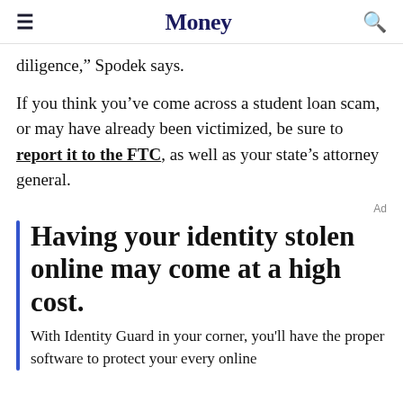Money
diligence,” Spodek says.
If you think you’ve come across a student loan scam, or may have already been victimized, be sure to report it to the FTC, as well as your state’s attorney general.
Ad
Having your identity stolen online may come at a high cost.
With Identity Guard in your corner, you’ll have the proper software to protect your every online